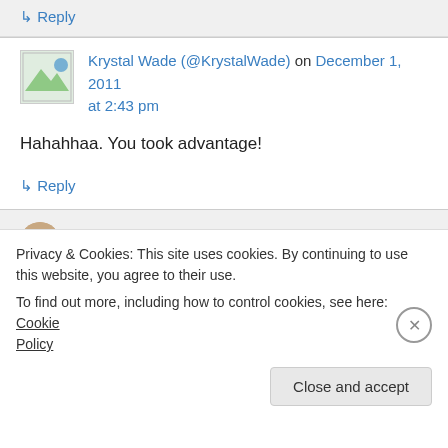↳ Reply
Krystal Wade (@KrystalWade) on December 1, 2011 at 2:43 pm
Hahahhaa. You took advantage!
↳ Reply
kelliannesweeney on December 1, 2011 at
Privacy & Cookies: This site uses cookies. By continuing to use this website, you agree to their use.
To find out more, including how to control cookies, see here: Cookie Policy
Close and accept